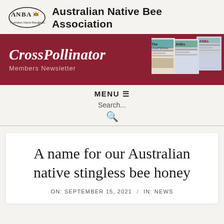[Figure (logo): ANBA Australian Native Bee Association logo with bee emblem]
Australian Native Bee Association
[Figure (illustration): CrossPollinator Members Newsletter banner — dark red background with italic serif title 'CrossPollinator' and subtitle 'Members Newsletter', with newsletter cover images on the right]
MENU ≡
Search...
A name for our Australian native stingless bee honey
ON: SEPTEMBER 15, 2021  /  IN: NEWS